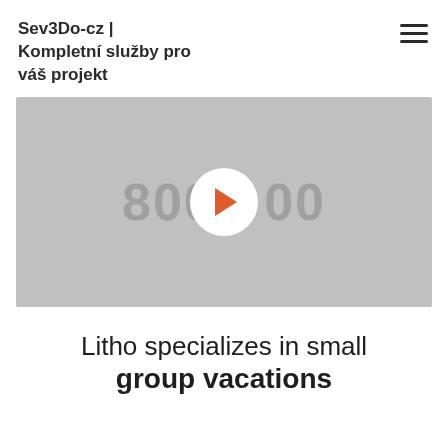Sev3Do-cz | Kompletní služby pro váš projekt
[Figure (screenshot): Video player placeholder showing '800x600' text in gray with a white circular play button in the center containing an orange/red triangle play icon.]
Litho specializes in small group vacations